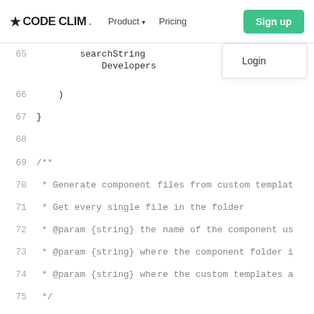CODE CLIM. Product ▾ Pricing Sign up Login
[Figure (screenshot): Code editor screenshot showing JavaScript code lines 65-81 with syntax highlighting. Lines 65-66 show searchString and Developers inside a closing bracket. Line 67 shows closing brace. Line 68 is empty. Lines 69-75 show a JSDoc comment block about generating component files from custom templates. Line 76 shows async function generateFilesFromTemplate({ name... Line 77 shows try {. Line 78 shows const files = glob.sync('**/*', { cwd: temp... Line 79 shows const config = getConfig(null, templatesPat... Line 80 shows const outputPath = config.noMkdir ? `${path... Line 81 shows files.map(async (templateFileName) =>...]